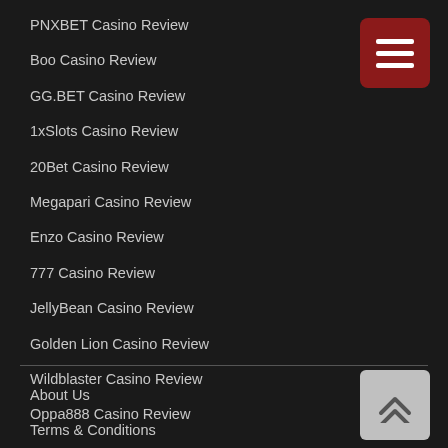PNXBET Casino Review
Boo Casino Review
GG.BET Casino Review
1xSlots Casino Review
20Bet Casino Review
Megapari Casino Review
Enzo Casino Review
777 Casino Review
JellyBean Casino Review
Golden Lion Casino Review
Wildblaster Casino Review
Oppa888 Casino Review
About Us
Terms & Conditions